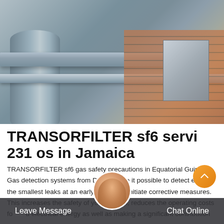[Figure (photo): Industrial equipment photo showing metal pipes, structural shelving, a cylindrical tank/duct, and a brick wall in the background. Gray metallic industrial setting.]
TRANSORFILTER sf6 servi 231 os in Jamaica
TRANSORFILTER sf6 gas safety precautions in Equatorial Guinea. Gas detection systems from Dr ger make it possible to detect even the smallest leaks at an early stage and initiate corrective measures. This increases the safety of your system, reduces the operating costs for electrical energy as well as making a significant contribution
Leave Message    Chat Online